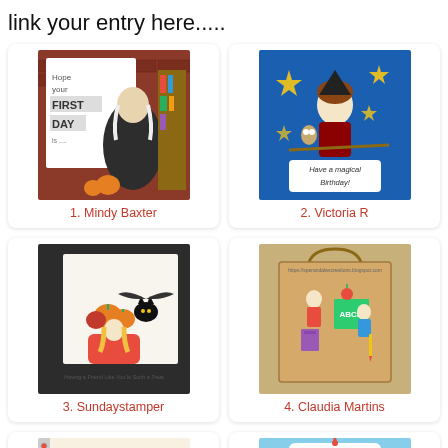link your entry here.....
[Figure (photo): Card with wizard/cat reading scene, text: Hope your FIRST DAY is...]
1. Mindy Baxter
[Figure (photo): Blue card with magical birthday boy on broomstick and stars, text: Have a magical Birthday!]
2. Victoria R
[Figure (photo): Card with cat, pumpkins and girl in chair, text: Having a Friend Like You Is Such a Treat]
3. Sundaystamper
[Figure (photo): Kraft bag with school-themed illustration of children at blackboard]
4. Claudia Martins
[Figure (photo): Spiral notebook/journal with girl and colorful lettering]
[Figure (photo): Blue bookmark tag with girl and I heart BOOKS text]